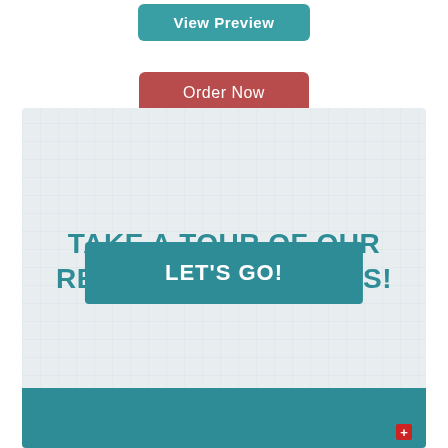[Figure (screenshot): Teal 'View Preview' button at top center]
[Figure (screenshot): Red/burgundy 'Order Now' button below View Preview]
TAKE A TOUR OF OUR RELIGION TEXTBOOKS!
[Figure (screenshot): Teal 'LET'S GO!' button]